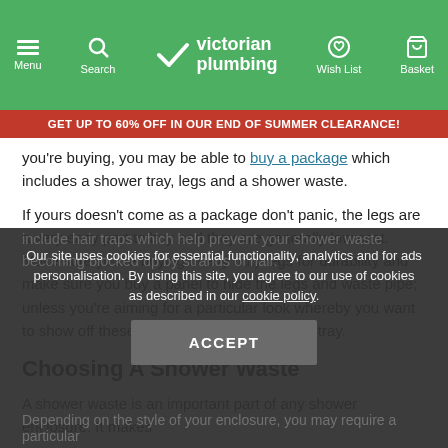Victorian Plumbing — Menu | Search | Wish List | Basket
GET UP TO 60% OFF IN OUR END OF SUMMER CLEARANCE!
you're buying, you may be able to buy a package which includes a shower tray, legs and a shower waste.
If yours doesn't come as a package don't panic, the legs are a very easy part to buy and they are generally low cost. Make sure you're buying heavy duty legs for durability and make sure you buy a panel to hide the legs and waste pipe; unless you're aiming for a particular look whereby you want to show off these features under the shower tray.
Choosing A Shower Waste
A shower waste is an important part of any shower enclosure. It makes
Our site uses cookies for essential functionality, analytics and for ads personalisation. By using this site, you agree to our use of cookies as described in our cookie policy.
include hair traps which help prevent your shower waste becoming blocked up by strands of hair.
Depending on the style of your enclosure, you may require a particular